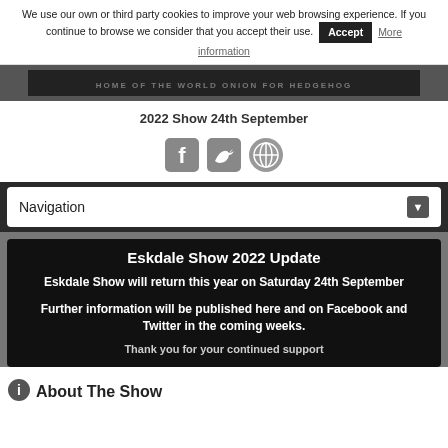We use our own or third party cookies to improve your web browsing experience. If you continue to browse we consider that you accept their use. Accept More information
[Figure (screenshot): Website header banner with text 'HOME OF THE WORLD ONION FOR HEDGEHOG' on dark background]
2022 Show 24th September
[Figure (illustration): Social media icons: Facebook, Twitter, and a globe/share icon in gray]
Navigation
Eskdale Show 2022 Update
Eskdale Show will return this year on Saturday 24th September
Further information will be published here and on Facebook and Twitter in the coming weeks.
Thank you for your continued support
About The Show